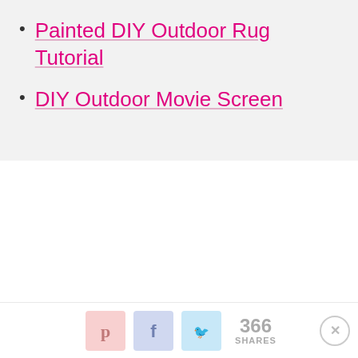Painted DIY Outdoor Rug Tutorial
DIY Outdoor Movie Screen
366 SHARES